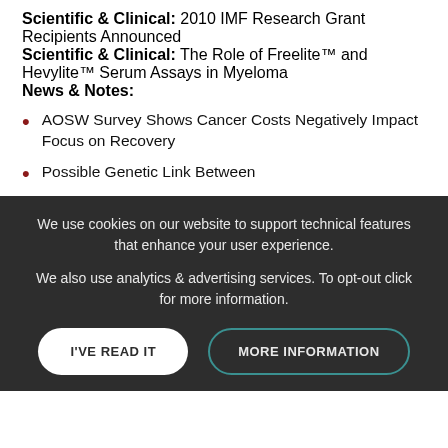Scientific & Clinical: 2010 IMF Research Grant Recipients Announced
Scientific & Clinical: The Role of Freelite™ and Hevylite™ Serum Assays in Myeloma
News & Notes:
AOSW Survey Shows Cancer Costs Negatively Impact Focus on Recovery
Possible Genetic Link Between
We use cookies on our website to support technical features that enhance your user experience.
We also use analytics & advertising services. To opt-out click for more information.